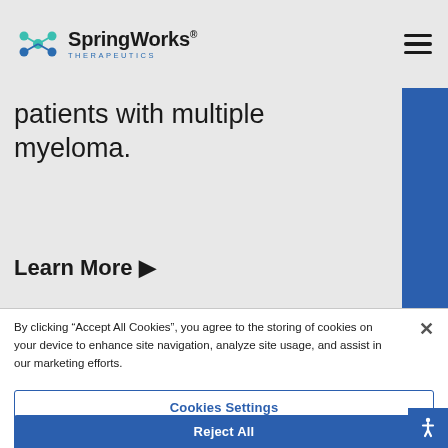SpringWorks Therapeutics
patients with multiple myeloma.
Learn More ▶
By clicking “Accept All Cookies”, you agree to the storing of cookies on your device to enhance site navigation, analyze site usage, and assist in our marketing efforts.
Cookies Settings
Reject All
Accept All Cookies